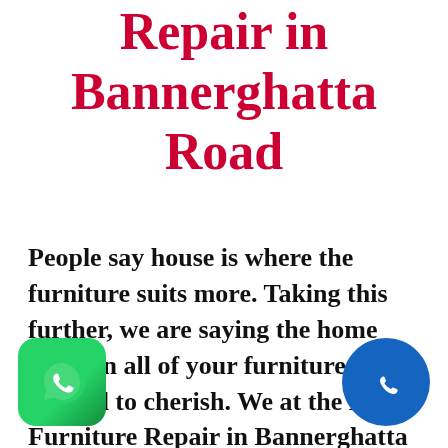Repair in Bannerghatta Road
People say house is where the furniture suits more. Taking this further, we are saying the home wherein all of your furniture is formed to cherish. We at the Best Furniture Repair in Bannerghatta Road are at the forefront of the industry creating beautiful spaces for you...
[Figure (illustration): WhatsApp icon — green rounded square with white WhatsApp logo, bottom left corner]
[Figure (illustration): Phone call icon — blue circle with white telephone handset, bottom right corner]